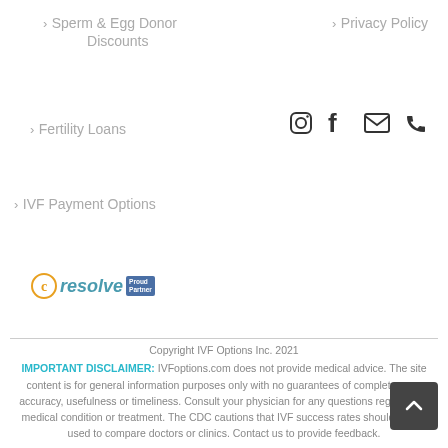> Sperm & Egg Donor Discounts
> Privacy Policy
> Fertility Loans
[Figure (other): Social media icons: Instagram, Facebook, Email, Phone]
> IVF Payment Options
[Figure (logo): Resolve Proud Partner logo with circular C symbol in orange, 'resolve' in teal italic, and 'Proud Partner' badge in blue]
Copyright IVF Options Inc. 2021
IMPORTANT DISCLAIMER: IVFoptions.com does not provide medical advice. The site content is for general information purposes only with no guarantees of completeness, accuracy, usefulness or timeliness. Consult your physician for any questions regarding a medical condition or treatment. The CDC cautions that IVF success rates should not be used to compare doctors or clinics. Contact us to provide feedback.